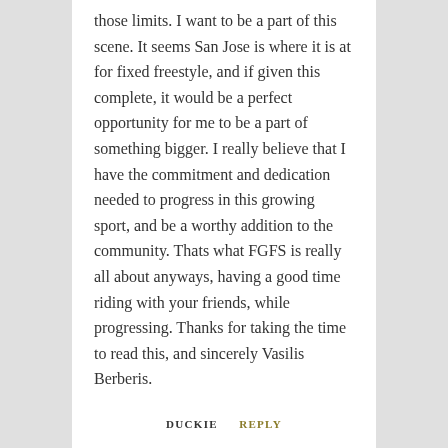those limits. I want to be a part of this scene. It seems San Jose is where it is at for fixed freestyle, and if given this complete, it would be a perfect opportunity for me to be a part of something bigger. I really believe that I have the commitment and dedication needed to progress in this growing sport, and be a worthy addition to the community. Thats what FGFS is really all about anyways, having a good time riding with your friends, while progressing. Thanks for taking the time to read this, and sincerely Vasilis Berberis.
DUCKIE
REPLY